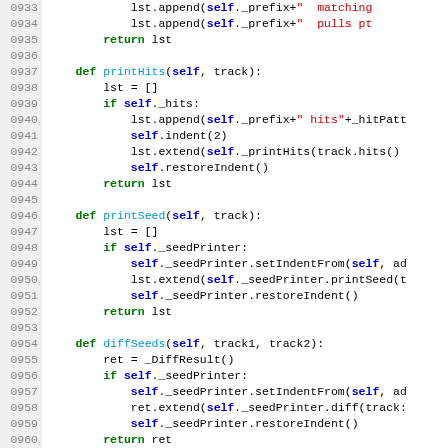Source code listing lines 0933–0962, Python code with syntax highlighting showing methods printHits, printSeed, diffSeeds, and beginning of printTrack.